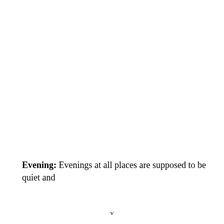Evening: Evenings at all places are supposed to be quiet and
v